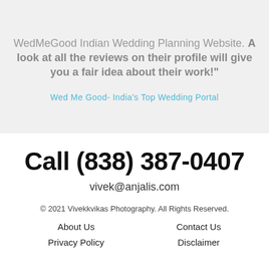WedMeGood Indian Wedding Planning Website. A look at all the reviews on their profile will give you a fair idea about their work!"
Wed Me Good- India's Top Wedding Portal
Call (838) 387-0407
vivek@anjalis.com
© 2021 Vivekkvikas Photography. All Rights Reserved.
About Us
Contact Us
Privacy Policy
Disclaimer